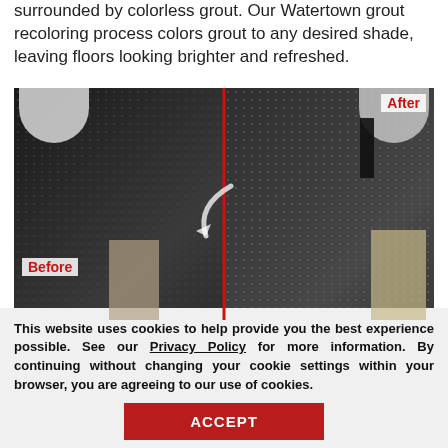surrounded by colorless grout. Our Watertown grout recoloring process colors grout to any desired shade, leaving floors looking brighter and refreshed.
[Figure (photo): Before and after photo of hexagonal tile floor with grout recoloring. Left side labeled 'Before' shows darker, dirtier grout. Right side labeled 'After' shows cleaner, refreshed grout. A red vertical line divides the two sides with a curved arrow indicating the transformation.]
This website uses cookies to help provide you the best experience possible. See our Privacy Policy for more information. By continuing without changing your cookie settings within your browser, you are agreeing to our use of cookies.
ACCEPT